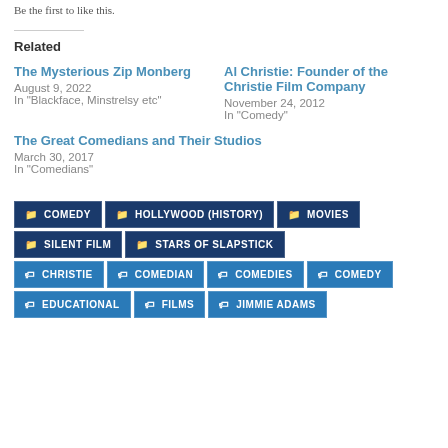Be the first to like this.
Related
The Mysterious Zip Monberg
August 9, 2022
In "Blackface, Minstrelsy etc"
Al Christie: Founder of the Christie Film Company
November 24, 2012
In "Comedy"
The Great Comedians and Their Studios
March 30, 2017
In "Comedians"
COMEDY
HOLLYWOOD (HISTORY)
MOVIES
SILENT FILM
STARS OF SLAPSTICK
CHRISTIE
COMEDIAN
COMEDIES
COMEDY
EDUCATIONAL
FILMS
JIMMIE ADAMS